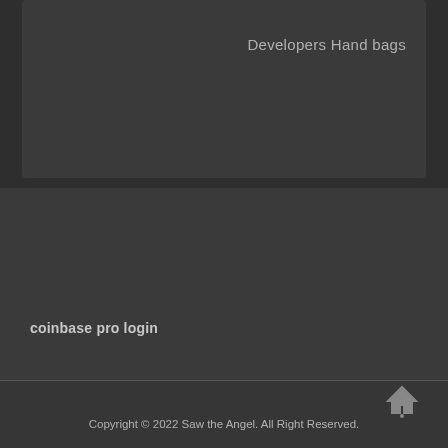Developers Hand bags
coinbase pro login
[Figure (other): Home/location icon with upward arrow and dot below]
Copyright © 2022 Saw the Angel. All Right Reserved.